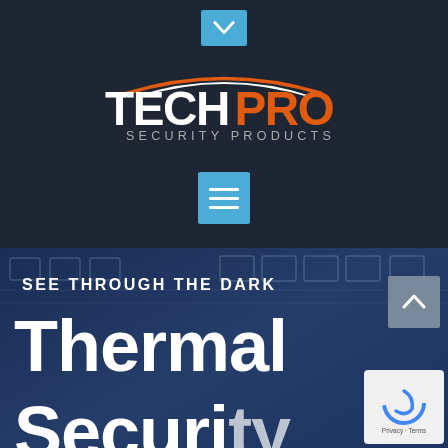[Figure (logo): TechPro Security Products logo with orange and white text and arc graphic on dark background]
SEE THROUGH THE DARK
Thermal Security